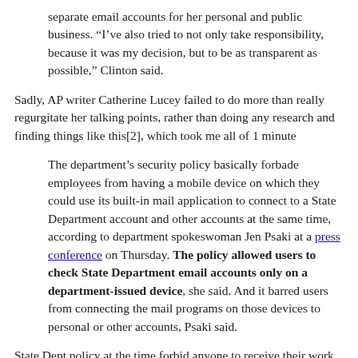separate email accounts for her personal and public business. “I’ve also tried to not only take responsibility, because it was my decision, but to be as transparent as possible,” Clinton said.
Sadly, AP writer Catherine Lucey failed to do more than really regurgitate her talking points, rather than doing any research and finding things like this[2], which took me all of 1 minute
The department’s security policy basically forbade employees from having a mobile device on which they could use its built-in mail application to connect to a State Department account and other accounts at the same time, according to department spokeswoman Jen Psaki at a press conference on Thursday. The policy allowed users to check State Department email accounts only on a department-issued device, she said. And it barred users from connecting the mail programs on those devices to personal or other accounts, Psaki said.
State Dept policy at the time forbid anyone to receive their work email account on anything but a department issued device, because they had proper security. Hillary used her own device and created a homebrew, insecure server rather than use the appropriate device